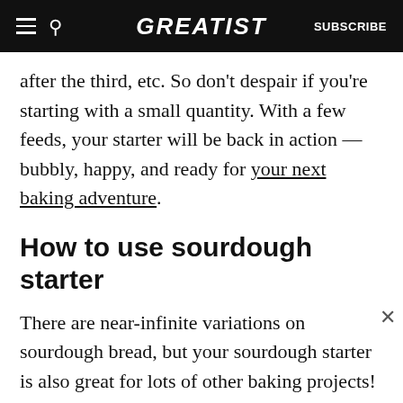GREATIST | SUBSCRIBE
after the third, etc. So don’t despair if you’re starting with a small quantity. With a few feeds, your starter will be back in action — bubbly, happy, and ready for your next baking adventure.
How to use sourdough starter
There are near-infinite variations on sourdough bread, but your sourdough starter is also great for lots of other baking projects! Here are just a handful of sourdough-based recipes to get you
[Figure (screenshot): Advertisement banner: black background with decorative pattern. Text: Let’s be friends with (health) benefits. Follow GREATIST on Instagram. Green FOLLOW US button.]